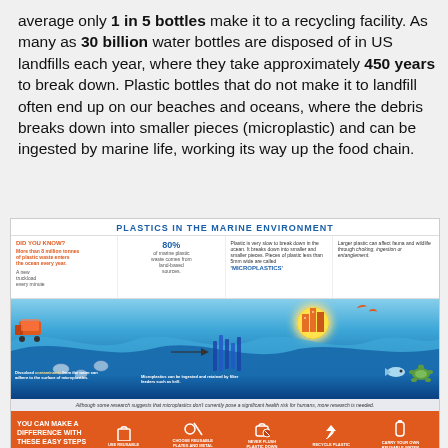average only 1 in 5 bottles make it to a recycling facility. As many as 30 billion water bottles are disposed of in US landfills each year, where they take approximately 450 years to break down. Plastic bottles that do not make it to landfill often end up on our beaches and oceans, where the debris breaks down into smaller pieces (microplastic) and can be ingested by marine life, working its way up the food chain.
[Figure (infographic): Infographic titled 'PLASTICS IN THE MARINE ENVIRONMENT' with sections: Did You Know (more than 8 million tonnes of plastic waste enters the ocean every year, a new truckload every minute), 80% of marine plastic waste comes from land-based sources, Plastic is very slow to break down — microplastics, Larger plastic can affect fauna and wildlife through choking, ingestion or entanglement. Ocean scene showing plastic debris, microplastics ingested by filter feeders such as krill. Bottom note: Although some research suggests that microplastics don't currently pose a significant health risk for humans, more research is needed. Bottom orange section: YOU CAN MAKE A DIFFERENCE WITH THESE EASY STEPS... Use reusable shopping bags, Choose reusable plates and metal cutlery, Never flush plastic down the toilet, Recycle plastic waste, Carry your own reusable water bottle and coffee cup.]